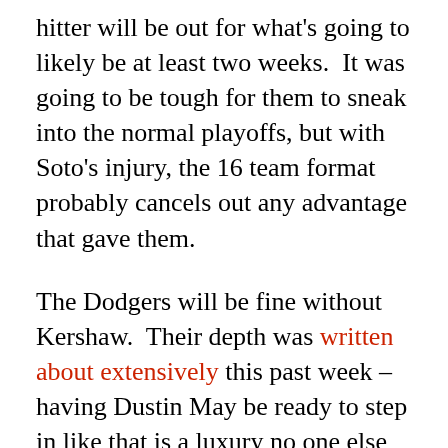hitter will be out for what's going to likely be at least two weeks.  It was going to be tough for them to sneak into the normal playoffs, but with Soto's injury, the 16 team format probably cancels out any advantage that gave them.
The Dodgers will be fine without Kershaw.  Their depth was written about extensively this past week – having Dustin May be ready to step in like that is a luxury no one else has.  He figures to be Kershaw's long-term replacement in the rotation, and why wouldn't he be?  May's stuff is pure electricity.  Obviously the Dodgers would like to be careful